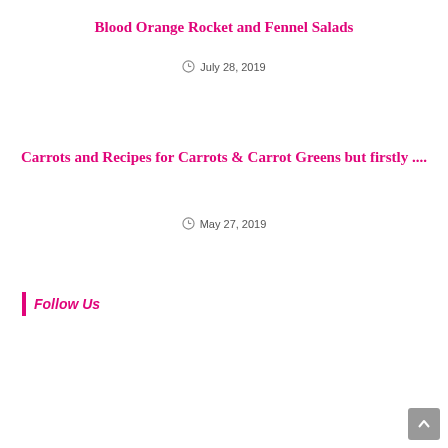Blood Orange Rocket and Fennel Salads
July 28, 2019
Carrots and Recipes for Carrots & Carrot Greens but firstly ....
May 27, 2019
Follow Us